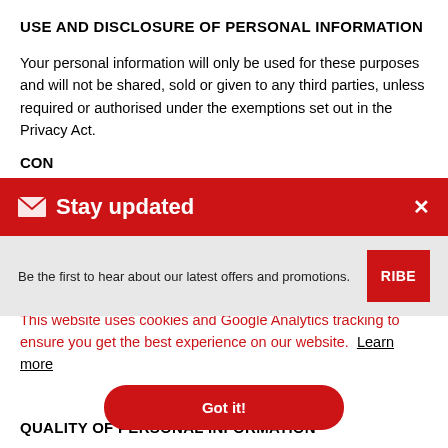USE AND DISCLOSURE OF PERSONAL INFORMATION
Your personal information will only be used for these purposes and will not be shared, sold or given to any third parties, unless required or authorised under the exemptions set out in the Privacy Act.
CON[SENT] (partially visible)
PER (partially visible)
[Figure (screenshot): Red 'Stay updated' modal banner with envelope icon and X close button, and gray body with text 'Be the first to hear about our latest offers and promotions.' and a red SUBSCRIBE button]
This website uses cookies and Google Analytics tracking to ensure you get the best experience on our website.  Learn more
Got it!
QUALITY OF PERSONAL INFORMATION